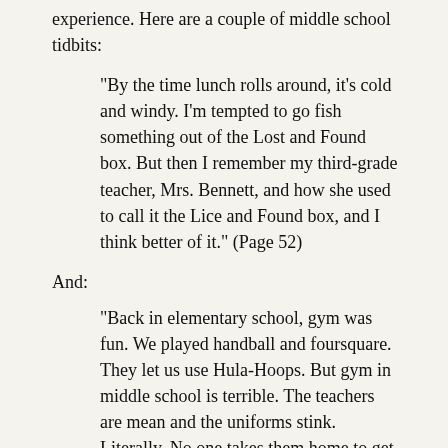experience. Here are a couple of middle school tidbits:
"By the time lunch rolls around, it's cold and windy. I'm tempted to go fish something out of the Lost and Found box. But then I remember my third-grade teacher, Mrs. Bennett, and how she used to call it the Lice and Found box, and I think better of it." (Page 52)
And:
"Back in elementary school, gym was fun. We played handball and foursquare. They let us use Hula-Hoops. But gym in middle school is terrible. The teachers are mean and the uniforms stink. Literally. No one takes them home to get washed.